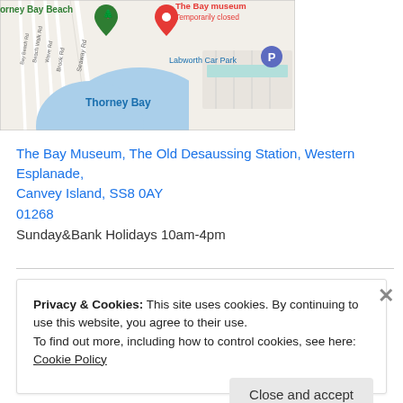[Figure (map): Google Maps screenshot showing Thorney Bay Beach, The Bay Museum (temporarily closed), Labworth Car Park, and Thorney Bay water area on Canvey Island.]
The Bay Museum, The Old Desaussing Station, Western Esplanade, Canvey Island, SS8 0AY
01268
Sunday&Bank Holidays 10am-4pm
Privacy & Cookies: This site uses cookies. By continuing to use this website, you agree to their use.
To find out more, including how to control cookies, see here: Cookie Policy
Close and accept